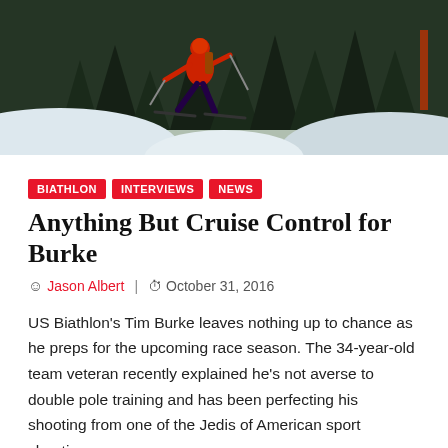[Figure (photo): A biathlete in a red suit skiing cross-country on a snowy trail surrounded by pine trees, shot with a fisheye lens.]
BIATHLON
INTERVIEWS
NEWS
Anything But Cruise Control for Burke
Jason Albert  |  October 31, 2016
US Biathlon's Tim Burke leaves nothing up to chance as he preps for the upcoming race season. The 34-year-old team veteran recently explained he's not averse to double pole training and has been perfecting his shooting from one of the Jedis of American sport shooting.
CONTINUE READING →